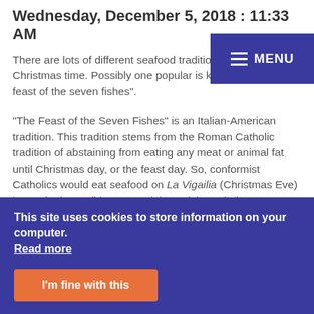Wednesday, December 5, 2018 : 11:33 AM
There are lots of different seafood traditions celebrated at Christmas time. Possibly one popular is known as "The feast of the seven fishes".
"The Feast of the Seven Fishes" is an Italian-American tradition. This tradition stems from the Roman Catholic tradition of abstaining from eating any meat or animal fat until Christmas day, or the feast day. So, conformist Catholics would eat seafood on La Vigailia (Christmas Eve) instead. The tradition was celebrated through the years, then Italian immigrants brought it over to America where it grew in popularity. The feast is more of an American tradition now with many Italians not even knowing what "The feast of the seven fishes" is.
This site uses cookies to store information on your computer. Read more
I'm fine with this